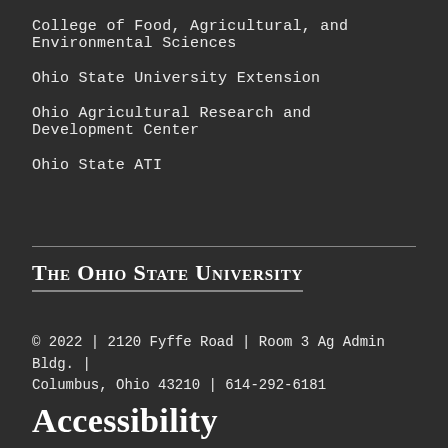College of Food, Agricultural, and Environmental Sciences
Ohio State University Extension
Ohio Agricultural Research and Development Center
Ohio State ATI
[Figure (logo): The Ohio State University logo text in serif small-caps with underline]
© 2022 | 2120 Fyffe Road | Room 3 Ag Admin Bldg. | Columbus, Ohio 43210 | 614-292-6181
Accessibility